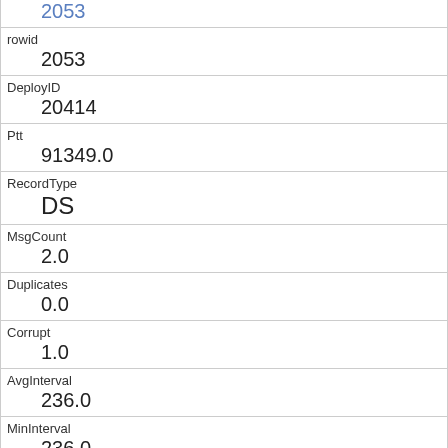| 2053 (link) |
| rowid | 2053 |
| DeployID | 20414 |
| Ptt | 91349.0 |
| RecordType | DS |
| MsgCount | 2.0 |
| Duplicates | 0.0 |
| Corrupt | 1.0 |
| AvgInterval | 236.0 |
| MinInterval | 236.0 |
| Date | 8/1/2010 19:48 |